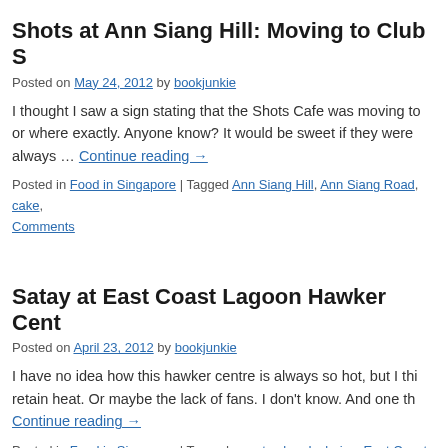Shots at Ann Siang Hill: Moving to Club S
Posted on May 24, 2012 by bookjunkie
I thought I saw a sign stating that the Shots Cafe was moving to or where exactly. Anyone know? It would be sweet if they were always … Continue reading →
Posted in Food in Singapore | Tagged Ann Siang Hill, Ann Siang Road, cake, Comments
Satay at East Coast Lagoon Hawker Cent
Posted on April 23, 2012 by bookjunkie
I have no idea how this hawker centre is always so hot, but I thi retain heat. Or maybe the lack of fans. I don't know. And one th Continue reading →
Posted in Food in Singapore | Tagged carrot cake, duck rice, East Coast Lag Singapore | 4 Comments